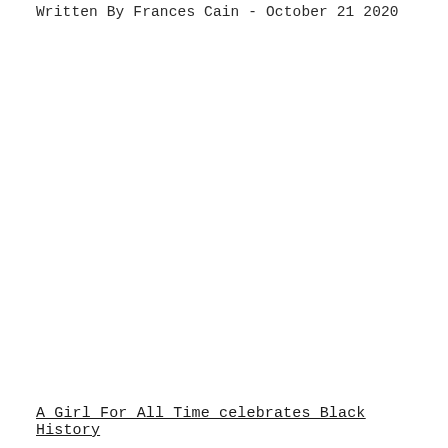Written By Frances Cain - October 21 2020
A Girl For All Time celebrates Black History